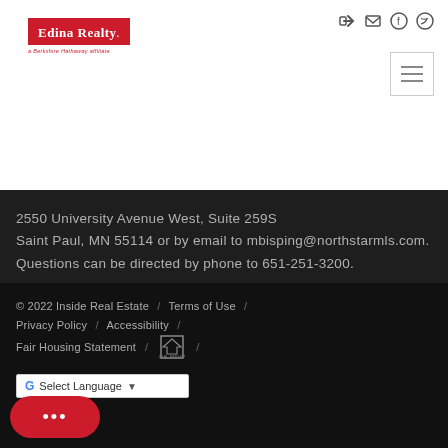[Figure (logo): Edina Realty logo — red box with white text, a Berkshire Hathaway affiliate tagline below]
2550 University Avenue West, Suite 259S Saint Paul, MN 55114 or by email to mbisping@northstarmls.com. Questions can be directed by phone to 651-251-3200.
© 2022 Inside Real Estate / Terms of Use / Privacy Policy / Accessibility / Fair Housing Statement /